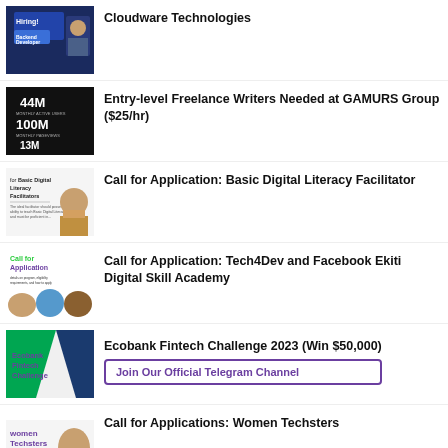[Figure (screenshot): Thumbnail: dark blue background, 'Hiring! Backend Developer' text]
Cloudware Technologies
[Figure (screenshot): Thumbnail: black background with stats 44M monthly active users, 100M monthly pageviews, 13M]
Entry-level Freelance Writers Needed at GAMURS Group ($25/hr)
[Figure (screenshot): Thumbnail: 'for Basic Digital Literacy Facilitators' with a man in a suit]
Call for Application: Basic Digital Literacy Facilitator
[Figure (screenshot): Thumbnail: 'Call for Application' in green/purple with young people]
Call for Application: Tech4Dev and Facebook Ekiti Digital Skill Academy
[Figure (screenshot): Thumbnail: Ecobank Fintech Challenge logo with green/navy design]
Ecobank Fintech Challenge 2023 (Win $50,000)
Join Our Official Telegram Channel
[Figure (screenshot): Thumbnail: Women Techsters logo with a woman]
Call for Applications: Women Techsters